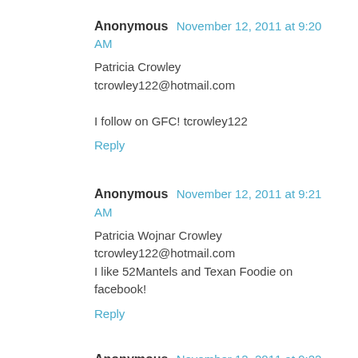Anonymous  November 12, 2011 at 9:20 AM
Patricia Crowley
tcrowley122@hotmail.com

I follow on GFC! tcrowley122
Reply
Anonymous  November 12, 2011 at 9:21 AM
Patricia Wojnar Crowley
tcrowley122@hotmail.com
I like 52Mantels and Texan Foodie on facebook!
Reply
Anonymous  November 12, 2011 at 9:22 AM
Patricia Crowley
tcrowley122@hotmail.com